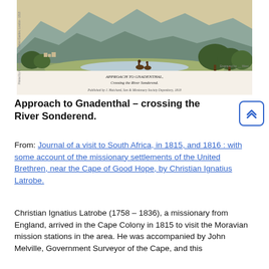[Figure (illustration): An engraving depicting 'Approach to Gnadenthal, Crossing the River Sonderend.' A landscape with mountains in the background, a river in the middle ground, trees on the right, and riders on horseback in the foreground. Caption text beneath reads: 'APPROACH TO GNADENTHAL, Crossing the River Sonderend.' with publication details beneath.]
Approach to Gnadenthal – crossing the River Sonderend.
From: Journal of a visit to South Africa, in 1815, and 1816 : with some account of the missionary settlements of the United Brethren, near the Cape of Good Hope, by Christian Ignatius Latrobe.
Christian Ignatius Latrobe (1758 – 1836), a missionary from England, arrived in the Cape Colony in 1815 to visit the Moravian mission stations in the area. He was accompanied by John Melville, Government Surveyor of the Cape, and this